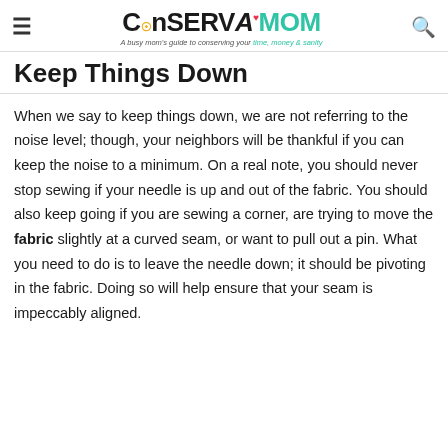ConservaMom — A busy mom's guide to conserving your time, money & sanity
Keep Things Down
When we say to keep things down, we are not referring to the noise level; though, your neighbors will be thankful if you can keep the noise to a minimum. On a real note, you should never stop sewing if your needle is up and out of the fabric. You should also keep going if you are sewing a corner, are trying to move the fabric slightly at a curved seam, or want to pull out a pin. What you need to do is to leave the needle down; it should be pivoting in the fabric. Doing so will help ensure that your seam is impeccably aligned.